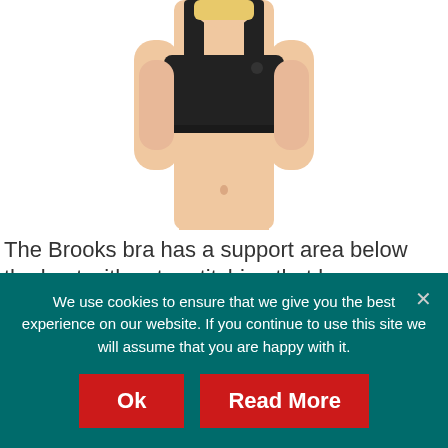[Figure (photo): Photo of a woman wearing a black Brooks sports bra, cropped to show torso and shoulders, centered on white background.]
The Brooks bra has a support area below the bust with extra stitching that keeps your breasts firmly in place. The Juno comes in a variety of fun colors and has been extensively tested by the Research Group in Breast Health at the University of Portsmouth.
We use cookies to ensure that we give you the best experience on our website. If you continue to use this site we will assume that you are happy with it.